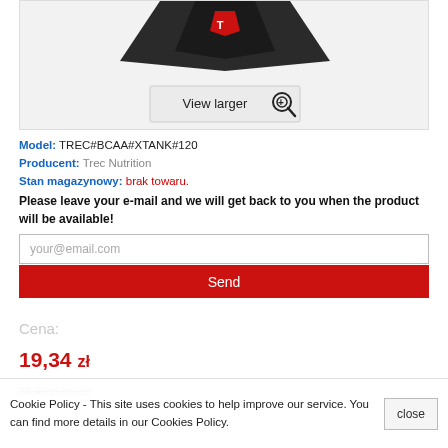[Figure (photo): Product image box showing a partially visible supplement container (BCAA XTANK) at the top, dark packaging with red logo visible, on a light gray background. A 'View larger' button with magnifier icon is overlaid at the bottom center of the image area.]
Model: TREC#BCAA#XTANK#120
Producent: Trec Nutrition
Stan magazynowy: brak towaru.
Please leave your e-mail and we will get back to you when the product will be available!
your@email.com
Send
Cena:
19,34 zł
24,49 zł (z vat)
Cookie Policy - This site uses cookies to help improve our service. You can find more details in our Cookies Policy.
close